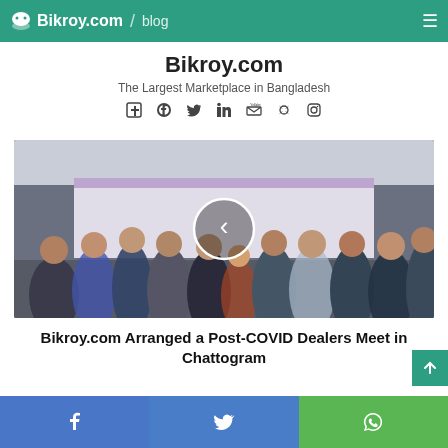Bikroy.com / blog
Bikroy.com
The Largest Marketplace in Bangladesh
[Figure (photo): Group photo of Bikroy.com dealers at a Post-COVID Dealers Meet event in Chattogram, with a circular navigation arrow overlay in the center]
Bikroy.com Arranged a Post-COVID Dealers Meet in Chattogram
Social share bar: Facebook, Twitter, WhatsApp